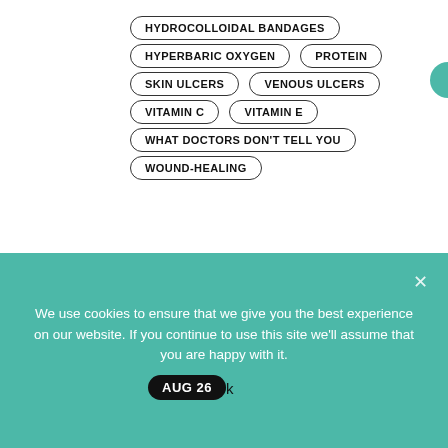HYDROCOLLOIDAL BANDAGES
HYPERBARIC OXYGEN
PROTEIN
SKIN ULCERS
VENOUS ULCERS
VITAMIN C
VITAMIN E
WHAT DOCTORS DON'T TELL YOU
WOUND-HEALING
Related articles
[Figure (photo): Article thumbnail image with a date badge showing AUG 26; sky and clouds background]
We use cookies to ensure that we give you the best experience on our website. If you continue to use this site we'll assume that you are happy with it.
Ok